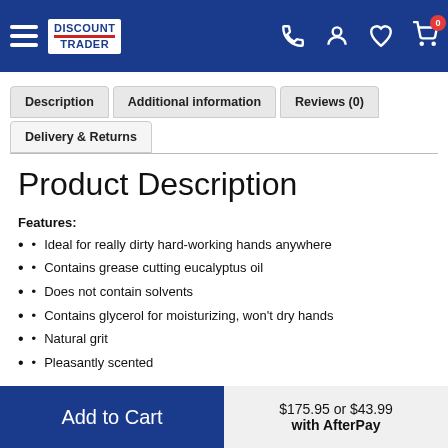Discount Trader — navigation header with hamburger menu, phone, account, wishlist, cart (0)
Description | Additional information | Reviews (0) | Delivery & Returns
Product Description
Features:
Ideal for really dirty hard-working hands anywhere
Contains grease cutting eucalyptus oil
Does not contain solvents
Contains glycerol for moisturizing, won't dry hands
Natural grit
Pleasantly scented
Add to Cart  $175.95 or $43.99 with AfterPay